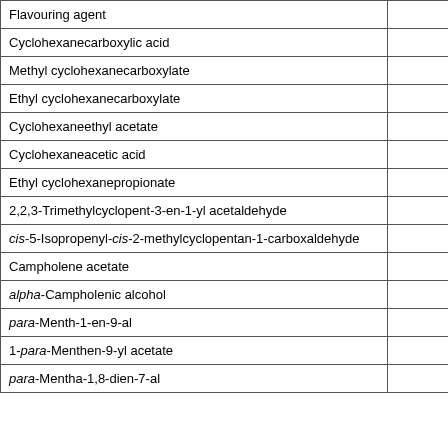| Flavouring agent | No. |
| --- | --- |
| Cyclohexanecarboxylic acid | 961 |
| Methyl cyclohexanecarboxylate | 962 |
| Ethyl cyclohexanecarboxylate | 963 |
| Cyclohexaneethyl acetate | 964 |
| Cyclohexaneacetic acid | 965 |
| Ethyl cyclohexanepropionate | 966 |
| 2,2,3-Trimethylcyclopent-3-en-1-yl acetaldehyde | 967 |
| cis-5-Isopropenyl-cis-2-methylcyclopentan-1-carboxaldehyde | 968 |
| Campholene acetate | 969 |
| alpha-Campholenic alcohol | 970 |
| para-Menth-1-en-9-al | 971 |
| 1-para-Menthen-9-yl acetate | 972 |
| para-Mentha-1,8-dien-7-al | 973 |